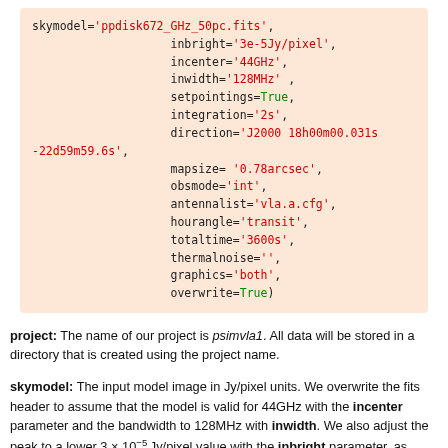skymodel='ppdisk672_GHz_50pc.fits', inbright='3e-5Jy/pixel', incenter='44GHz', inwidth='128MHz', setpointings=True, integration='2s', direction='J2000 18h00m00.031s -22d59m59.6s', mapsize='0.78arcsec', obsmode='int', antennalist='vla.a.cfg', hourangle='transit', totaltime='3600s', thermalnoise='', graphics='both', overwrite=True)
project: The name of our project is psimvla1. All data will be stored in a directory that is created using the project name.
skymodel: The input model image in Jy/pixel units. We overwrite the fits header to assume that the model is valid for 44GHz with the incenter parameter and the bandwidth to 128MHz with inwidth. We also adjust the peak to a lower 3 × 10^-5 Jy/pixel value with the inbright parameter, as expected at the lower frequency.
setpointings: allows simobserve to derive the pointing positions by its own algorithm. Given that the primary beam at Q-band is about 1 arcminute from the VLA, the pointing pattern uses (CCC) and the...